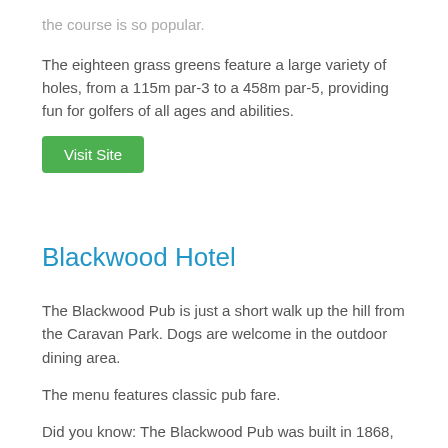the course is so popular.
The eighteen grass greens feature a large variety of holes, from a 115m par-3 to a 458m par-5, providing fun for golfers of all ages and abilities.
[Figure (other): Green button labeled 'Visit Site']
Blackwood Hotel
The Blackwood Pub is just a short walk up the hill from the Caravan Park. Dogs are welcome in the outdoor dining area.
The menu features classic pub fare.
Did you know: The Blackwood Pub was built in 1868, and is the oldest weatherboard pub with a continuous licence.